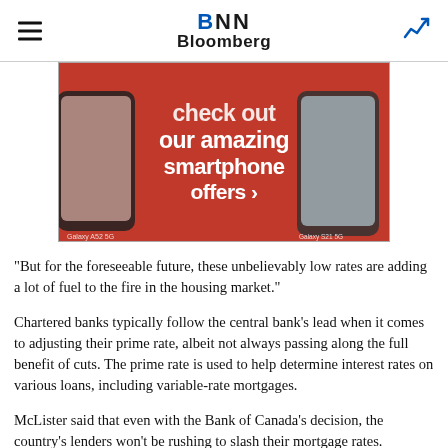BNN Bloomberg
[Figure (photo): Red advertisement banner for Samsung smartphones showing 'check out our amazing smartphone offers' text with Samsung Galaxy phones on left and right sides]
“But for the foreseeable future, these unbelievably low rates are adding a lot of fuel to the fire in the housing market.”
Chartered banks typically follow the central bank’s lead when it comes to adjusting their prime rate, albeit not always passing along the full benefit of cuts. The prime rate is used to help determine interest rates on various loans, including variable-rate mortgages.
McLister said that even with the Bank of Canada’s decision, the country’s lenders won’t be rushing to slash their mortgage rates.